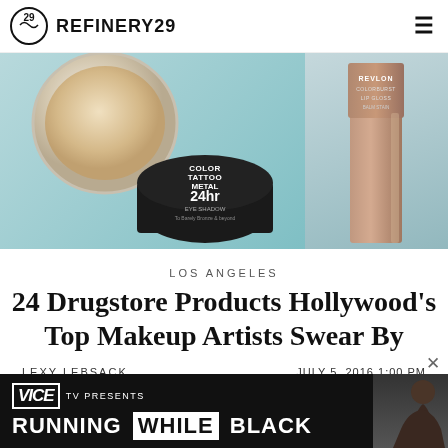REFINERY29
[Figure (photo): Hero image showing two drugstore makeup products: a Maybelline Color Tattoo 24hr eyeshadow pot in a neutral shade on the left (light blue background), and a Revlon Colorburst lip product (nude/mauve color) on the right.]
LOS ANGELES
24 Drugstore Products Hollywood's Top Makeup Artists Swear By
LEXY LEBSACK
JULY 5, 2016 1:00 PM
[Figure (screenshot): Advertisement banner for VICE TV: 'VICE TV PRESENTS RUNNING WHILE BLACK']